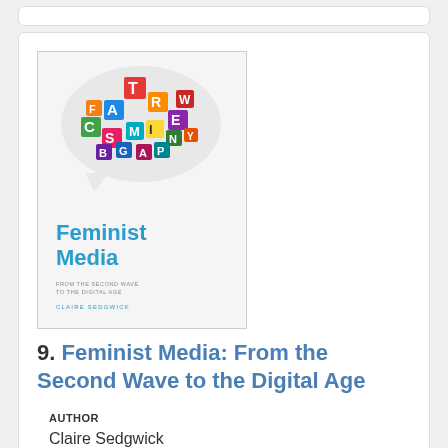[Figure (illustration): Book cover of 'Feminist Media: From the Second Wave to the Digital Age' by Claire Sedgwick. Cover shows a speech bubble made of collaged colorful letters/text clippings, with the title in blue text below and author name in small blue caps.]
9. Feminist Media: From the Second Wave to the Digital Age
AUTHOR
Claire Sedgwick
PUBLICATION DATE